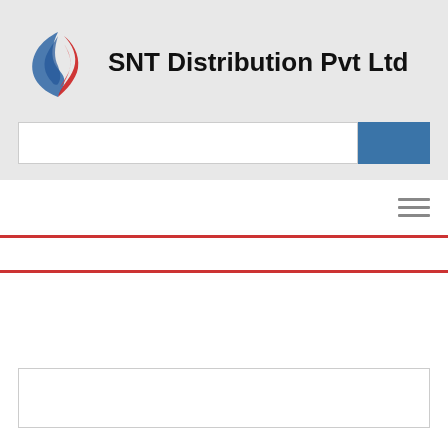SNT Distribution Pvt Ltd
[Figure (screenshot): Website screenshot showing SNT Distribution Pvt Ltd header with logo, company name, search bar with blue search button, hamburger menu icon, two red horizontal divider lines, and a white content box at the bottom]